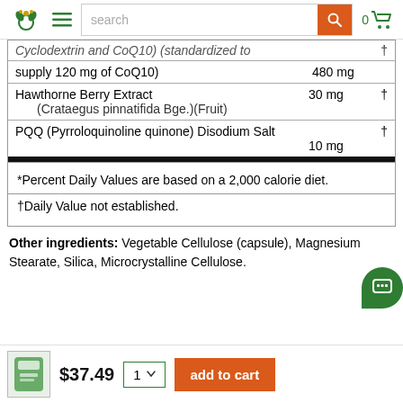Navigation bar with logo, menu, search bar, and cart
| Ingredient | Amount | DV |
| --- | --- | --- |
| Cyclodextrin and CoQ10) (standardized to supply 120 mg of CoQ10) | 480 mg | † |
| Hawthorne Berry Extract (Crataegus pinnatifida Bge.)(Fruit) | 30 mg | † |
| PQQ (Pyrroloquinoline quinone) Disodium Salt | 10 mg | † |
*Percent Daily Values are based on a 2,000 calorie diet.
†Daily Value not established.
Other ingredients: Vegetable Cellulose (capsule), Magnesium Stearate, Silica, Microcrystalline Cellulose.
$37.49  1  add to cart